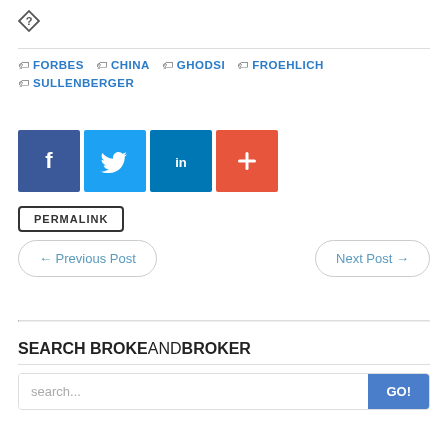[Figure (other): Diamond question mark icon at top left]
FORBES
CHINA
GHODSI
FROEHLICH
SULLENBERGER
[Figure (other): Social share buttons: Facebook, Twitter, LinkedIn, Google+]
PERMALINK
← Previous Post
Next Post →
SEARCH BROKEANDBROKER
search...  GO!